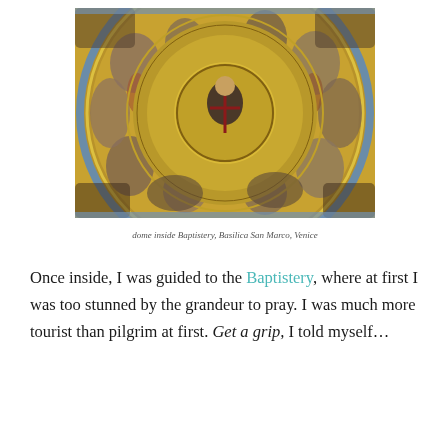[Figure (photo): Mosaic dome interior of the Baptistery, Basilica San Marco, Venice. Circular composition with golden background, central Christ figure, surrounding religious figures arranged radially.]
dome inside Baptistery, Basilica San Marco, Venice
Once inside, I was guided to the Baptistery, where at first I was too stunned by the grandeur to pray. I was much more tourist than pilgrim at first. Get a grip, I told myself…